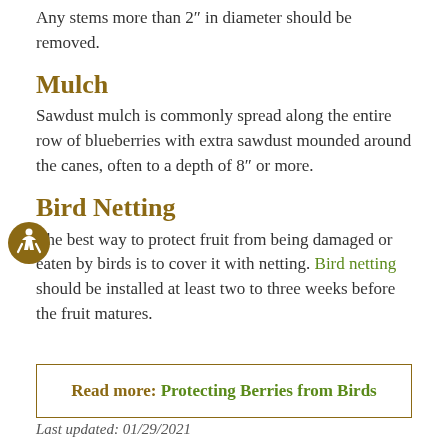Any stems more than 2" in diameter should be removed.
Mulch
Sawdust mulch is commonly spread along the entire row of blueberries with extra sawdust mounded around the canes, often to a depth of 8" or more.
Bird Netting
The best way to protect fruit from being damaged or eaten by birds is to cover it with netting. Bird netting should be installed at least two to three weeks before the fruit matures.
Read more: Protecting Berries from Birds
Last updated: 01/29/2021